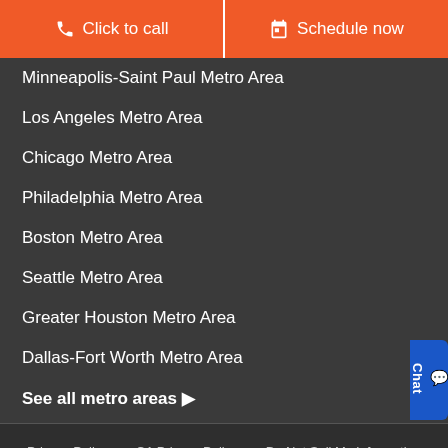Click to call
Schedule now
Minneapolis-Saint Paul Metro Area
Los Angeles Metro Area
Chicago Metro Area
Philadelphia Metro Area
Boston Metro Area
Seattle Metro Area
Greater Houston Metro Area
Dallas-Fort Worth Metro Area
See all metro areas ▶
Privacy Policy   CA Privacy Policy   Do Not Sell My Information   License Info   Terms of Use   Site Map   Reparación (ES)